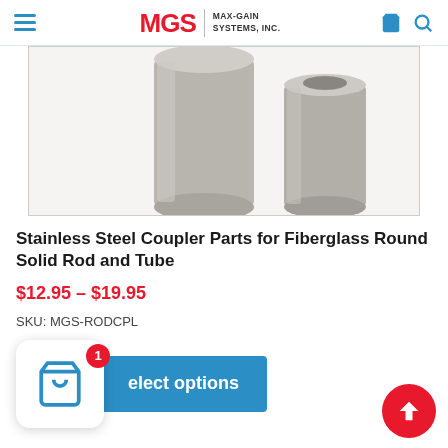MGS MAX-GAIN SYSTEMS, INC.
[Figure (photo): Two stainless steel cylindrical coupler parts on white background]
Stainless Steel Coupler Parts for Fiberglass Round Solid Rod and Tube
$12.95 – $19.95
SKU: MGS-RODCPL